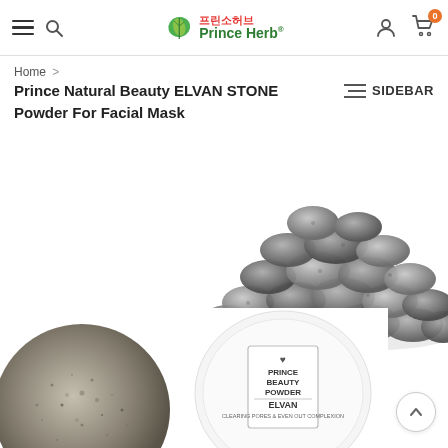Prince Herb (프린소허브) – navigation header with hamburger menu, search, account, and cart icons
Home > Prince Natural Beauty ELVAN STONE Powder For Facial Mask
Prince Natural Beauty ELVAN STONE Powder For Facial Mask
SIDEBAR
[Figure (photo): Pile of grey elvan stones on a white background]
[Figure (photo): Round container/jar lid with grey elvan stone powder, top-down view]
[Figure (photo): Round jar labeled PRINCE BEAUTY POWDER ELVAN – CLEARING PORES & EVEN OUT COMPLEXION]